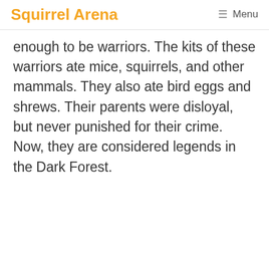Squirrel Arena  ☰ Menu
enough to be warriors. The kits of these warriors ate mice, squirrels, and other mammals. They also ate bird eggs and shrews. Their parents were disloyal, but never punished for their crime. Now, they are considered legends in the Dark Forest.